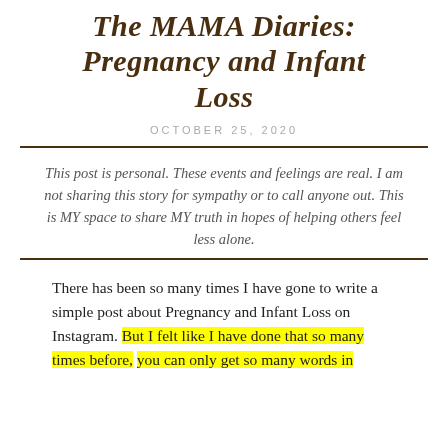The MAMA Diaries: Pregnancy and Infant Loss
OCTOBER 25, 2020
This post is personal. These events and feelings are real. I am not sharing this story for sympathy or to call anyone out. This is MY space to share MY truth in hopes of helping others feel less alone.
There has been so many times I have gone to write a simple post about Pregnancy and Infant Loss on Instagram. But I felt like I have done that so many times before, you can only get so many words in